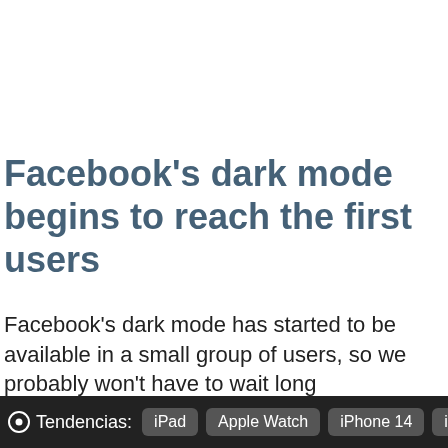Facebook's dark mode begins to reach the first users
Facebook's dark mode has started to be available in a small group of users, so we probably won't have to wait long
Tendencias: iPad  Apple Watch  iPhone 14  iC